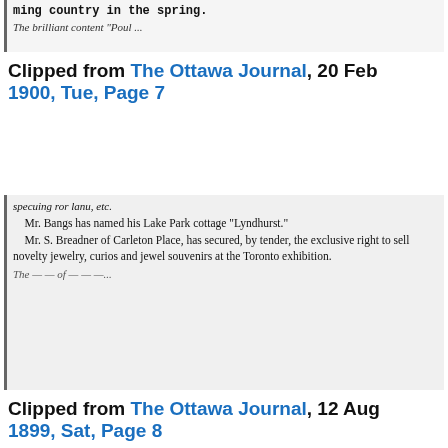[Figure (other): Newspaper clipping top fragment showing text: 'ming country in the spring.' and partial line below]
Clipped from The Ottawa Journal, 20 Feb 1900, Tue, Page 7
[Figure (other): Newspaper clipping showing text: 'specuing ror lanu, etc. Mr. Bangs has named his Lake Park cottage "Lyndhurst." Mr. S. Breadner of Carleton Place, has secured, by tender, the exclusive right to sell novelty jewelry, curios and jewel souvenirs at the Toronto exhibition.' and partial line at bottom]
Clipped from The Ottawa Journal, 12 Aug 1899, Sat, Page 8